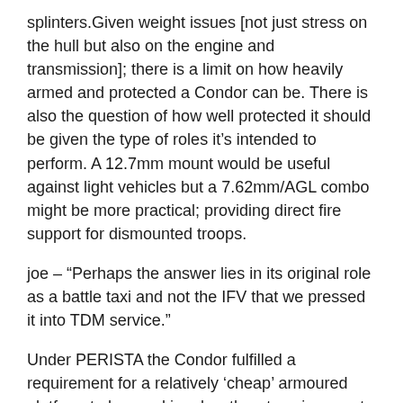splinters.Given weight issues [not just stress on the hull but also on the engine and transmission]; there is a limit on how heavily armed and protected a Condor can be. There is also the question of how well protected it should be given the type of roles it's intended to perform. A 12.7mm mount would be useful against light vehicles but a 7.62mm/AGL combo might be more practical; providing direct fire support for dismounted troops.
joe – “Perhaps the answer lies in its original role as a battle taxi and not the IFV that we pressed it into TDM service.”
Under PERISTA the Condor fulfilled a requirement for a relatively ‘cheap’ armoured platform to be used in a low threat environment. Not only was finance an issue but we didn’t see an urgent need for a better armed and protected vehicle.
joe – “An update in doctrine can place Gempitas as the motorised offensive spearhead and Condors in the supporting role to ferry troops rapidly from the rear.”